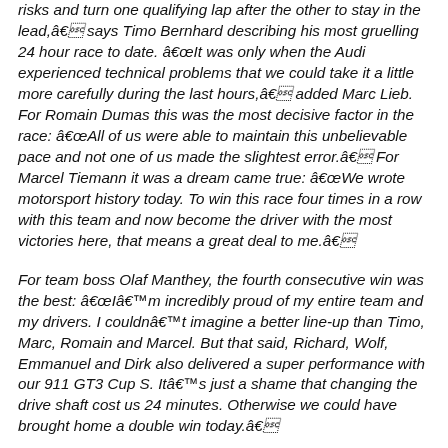risks and turn one qualifying lap after the other to stay in the lead,â€ says Timo Bernhard describing his most gruelling 24 hour race to date. â€œIt was only when the Audi experienced technical problems that we could take it a little more carefully during the last hours,â€ added Marc Lieb. For Romain Dumas this was the most decisive factor in the race: â€œAll of us were able to maintain this unbelievable pace and not one of us made the slightest error.â€ For Marcel Tiemann it was a dream came true: â€œWe wrote motorsport history today. To win this race four times in a row with this team and now become the driver with the most victories here, that means a great deal to me.â€
For team boss Olaf Manthey, the fourth consecutive win was the best: â€œIâ€™m incredibly proud of my entire team and my drivers. I couldnâ€™t imagine a better line-up than Timo, Marc, Romain and Marcel. But that said, Richard, Wolf, Emmanuel and Dirk also delivered a super performance with our 911 GT3 Cup S. Itâ€™s just a shame that changing the drive shaft cost us 24 minutes. Otherwise we could have brought home a double win today.â€
Another impressive demonstration of the renowned reliability of the Porsche 911 was shown by the squad under Uwe Alzen (Germany). Sharing driving duties with his all German line-up, Sascha Bert